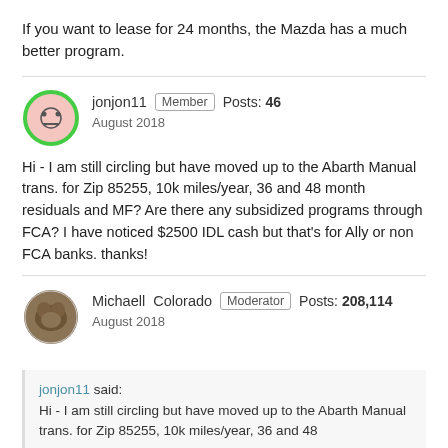If you want to lease for 24 months, the Mazda has a much better program.
jonjon11  Member  Posts: 46  August 2018
Hi - I am still circling but have moved up to the Abarth Manual trans. for Zip 85255, 10k miles/year, 36 and 48 month residuals and MF? Are there any subsidized programs through FCA? I have noticed $2500 IDL cash but that's for Ally or non FCA banks. thanks!
Michaell Colorado  Moderator  Posts: 208,114  August 2018
jonjon11 said: Hi - I am still circling but have moved up to the Abarth Manual trans. for Zip 85255, 10k miles/year, 36 and 48